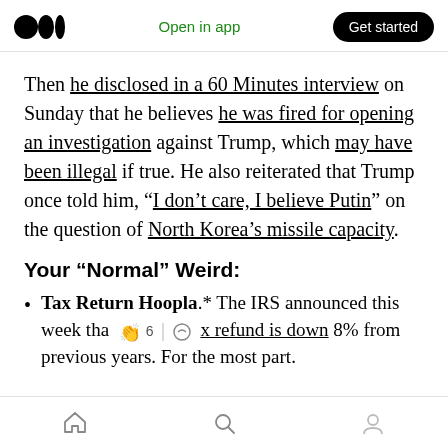Medium logo | Open in app | Get started
Then he disclosed in a 60 Minutes interview on Sunday that he believes he was fired for opening an investigation against Trump, which may have been illegal if true. He also reiterated that Trump once told him, “I don’t care, I believe Putin” on the question of North Korea’s missile capacity.
Your “Normal” Weird:
Tax Return Hoopla.* The IRS announced this week tha[t the a]x refund is down 8% from previous years. For the most part.
Home | Search | Profile